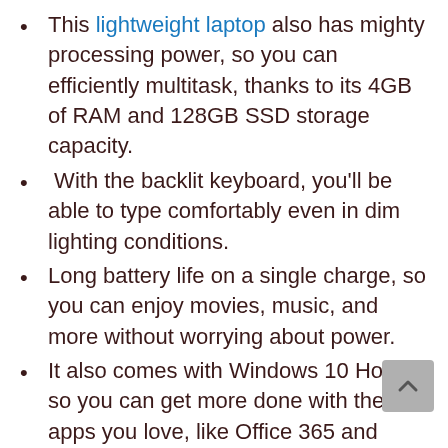This lightweight laptop also has mighty processing power, so you can efficiently multitask, thanks to its 4GB of RAM and 128GB SSD storage capacity.
With the backlit keyboard, you'll be able to type comfortably even in dim lighting conditions.
Long battery life on a single charge, so you can enjoy movies, music, and more without worrying about power.
It also comes with Windows 10 Home, so you can get more done with the apps you love, like Office 365 and Skype.